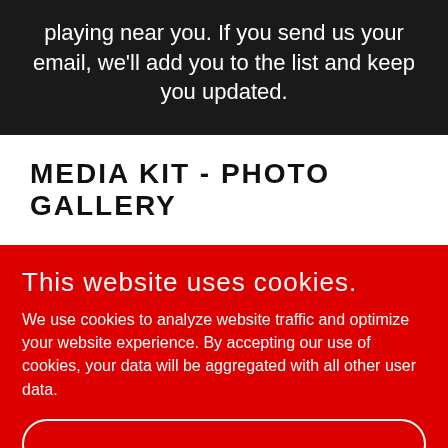playing near you. If you send us your email, we'll add you to the list and keep you updated.
MEDIA KIT - PHOTO GALLERY
This website uses cookies.
We use cookies to analyze website traffic and optimize your website experience. By accepting our use of cookies, your data will be aggregated with all other user data.